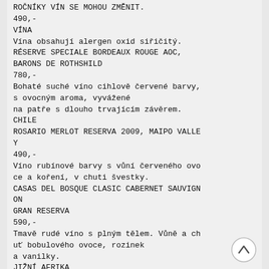ROČNÍKY VÍN SE MOHOU ZMĚNIT.
490,-
VÍNA
Vína obsahují alergen oxid siřičitý.
RÉSERVE SPECIALE BORDEAUX ROUGE AOC, BARONS DE ROTHSHILD
780,-
Bohaté suché víno cihlově červené barvy, s ovocným aroma, vyvážené na patře s dlouho trvajícím závěrem.
CHILE
ROSARIO MERLOT RESERVA 2009, MAIPO VALLEY
490,-
Víno rubínové barvy s vůní červeného ovoce a koření, v chuti švestky.
CASAS DEL BOSQUE CLASIC CABERNET SAUVIGNON GRAN RESERVA
590,-
Tmavě rudé víno s plným tělem. Vůně a chuť bobulového ovoce, rozinek a vanilky.
JIŽNÍ AFRIKA
NEDERBURG PINOTAGE, PAARL, NEDERBURG